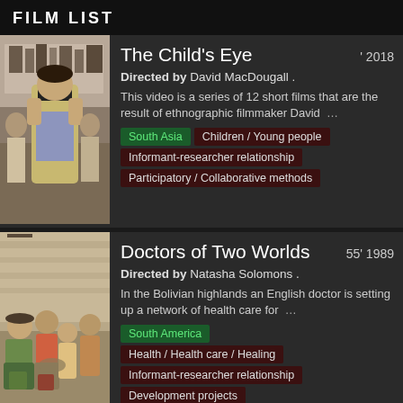FILM LIST
[Figure (photo): A child holding a camera up to their face in a classroom setting, with other students visible in the background.]
The Child's Eye
' 2018
Directed by David MacDougall .
This video is a series of 12 short films that are the result of ethnographic filmmaker David ...
South Asia
Children / Young people
Informant-researcher relationship
Participatory / Collaborative methods
[Figure (photo): A group of people including men and children sitting together in what appears to be a Bolivian highland village setting.]
Doctors of Two Worlds
55' 1989
Directed by Natasha Solomons .
In the Bolivian highlands an English doctor is setting up a network of health care for ...
South America
Health / Health care / Healing
Informant-researcher relationship
Development projects